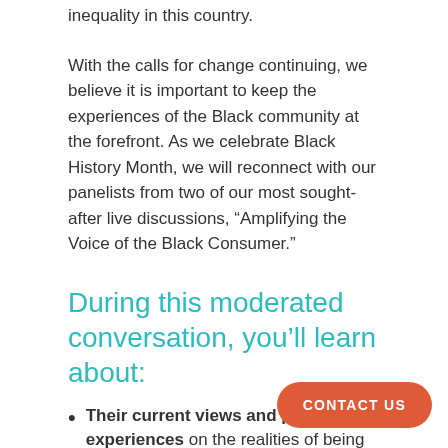inequality in this country.
With the calls for change continuing, we believe it is important to keep the experiences of the Black community at the forefront. As we celebrate Black History Month, we will reconnect with our panelists from two of our most sought-after live discussions, “Amplifying the Voice of the Black Consumer.”
During this moderated conversation, you’ll learn about:
Their current views and personal experiences on the realities of being Black in America today amid the g…
Their reflections on the impact of the